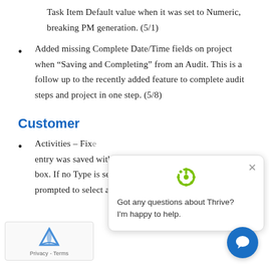Task Item Default value when it was set to Numeric, breaking PM generation. (5/1)
Added missing Complete Date/Time fields on project when “Saving and Completing” from an Audit. This is a follow up to the recently added feature to complete audit steps and project in one step. (5/8)
Customer
Activities – Fixed [partially obscured] entry was saved without a value in the Type box. If no Type is selected, the user is now prompted to select a type when creating a